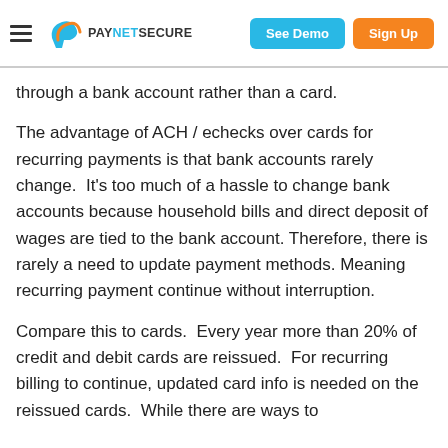PAYNETSECURE — See Demo | Sign Up
through a bank account rather than a card.
The advantage of ACH / echecks over cards for recurring payments is that bank accounts rarely change.  It's too much of a hassle to change bank accounts because household bills and direct deposit of wages are tied to the bank account. Therefore, there is rarely a need to update payment methods. Meaning recurring payment continue without interruption.
Compare this to cards.  Every year more than 20% of credit and debit cards are reissued.  For recurring billing to continue, updated card info is needed on the reissued cards.  While there are ways to